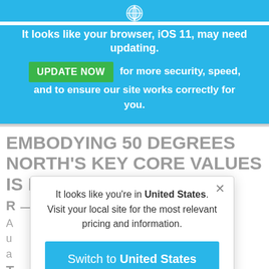[Figure (screenshot): Browser gear/settings icon in circular form at top of blue banner]
It looks like your browser, iOS 11, may need updating.
UPDATE NOW for more security, speed, and to ensure our site works correctly for you.
EMBODYING 50 DEGREES NORTH'S KEY CORE VALUES IS PART OF EVERY JOB
R
A
u
a
T
and what you deliver in your job, and we will give you
It looks like you're in United States.
Visit your local site for the most relevant pricing and information.
Switch to United States